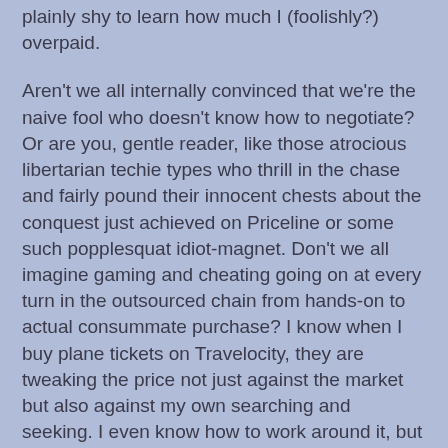plainly shy to learn how much I (foolishly?) overpaid.
Aren't we all internally convinced that we're the naive fool who doesn't know how to negotiate? Or are you, gentle reader, like those atrocious libertarian techie types who thrill in the chase and fairly pound their innocent chests about the conquest just achieved on Priceline or some such popplesquat idiot-magnet. Don't we all imagine gaming and cheating going on at every turn in the outsourced chain from hands-on to actual consummate purchase? I know when I buy plane tickets on Travelocity, they are tweaking the price not just against the market but also against my own searching and seeking. I even know how to work around it, but I simply don't have the energy, and have lost that hormonal lust to think that I can be the king of that hill.
Oh, how I long for the calm of regulation, and the placid comfort of knowing that, in principal, my elected officials, corrupt though they might be, would actually put into place regulations to prevent such theft simply because the theft and the need for the regulation would be so transparently obvious that not to do so would expose them, naked-emperor-like.